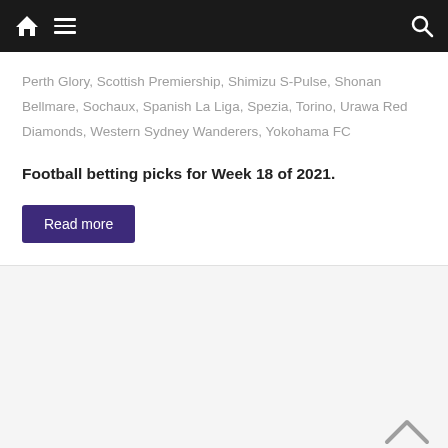Home | Menu | Search
Perth Glory, Scottish Premiership, Shimizu S-Pulse, Shonan Bellmare, Sochaux, Spanish La Liga, Spezia, Torino, Urawa Red Diamonds, Western Sydney Wanderers, Yokohama FC
Football betting picks for Week 18 of 2021.
Read more